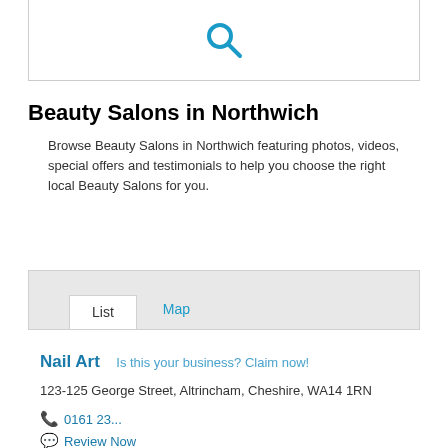[Figure (other): Search box with magnifying glass icon in blue]
Beauty Salons in Northwich
Browse Beauty Salons in Northwich featuring photos, videos, special offers and testimonials to help you choose the right local Beauty Salons for you.
List   Map
Nail Art   Is this your business? Claim now!
123-125 George Street, Altrincham, Cheshire, WA14 1RN
0161 23...
Review Now